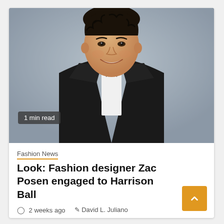[Figure (photo): A man in a tuxedo with a bow tie smiling, photographed at what appears to be an event backdrop with 'NYC BAL' text visible. A '1 min read' badge overlays the bottom-left corner of the photo.]
Fashion News
Look: Fashion designer Zac Posen engaged to Harrison Ball
2 weeks ago   David L. Juliano